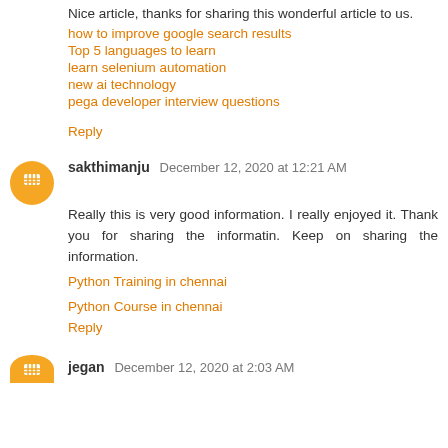Nice article, thanks for sharing this wonderful article to us.
how to improve google search results
Top 5 languages to learn
learn selenium automation
new ai technology
pega developer interview questions
Reply
sakthimanju December 12, 2020 at 12:21 AM
Really this is very good information. I really enjoyed it. Thank you for sharing the informatin. Keep on sharing the information.
Python Training in chennai
Python Course in chennai
Reply
jegan December 12, 2020 at 2:03 AM